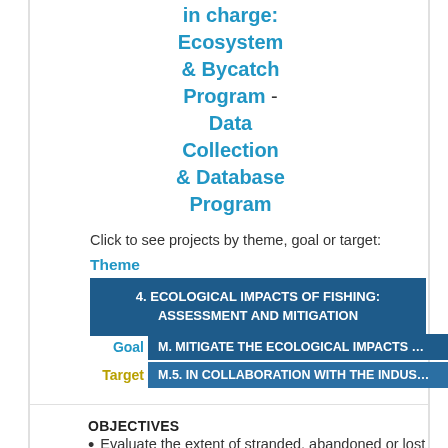in charge:
Ecosystem & Bycatch Program - Data Collection & Database Program
Click to see projects by theme, goal or target:
Theme
4. ECOLOGICAL IMPACTS OF FISHING: ASSESSMENT AND MITIGATION
Goal  M. MITIGATE THE ECOLOGICAL IMPACTS …
Target  M.5. IN COLLABORATION WITH THE INDUS…
OBJECTIVES
Evaluate the extent of stranded, abandoned or lost FADs (SAL-FADs) in the EPO.